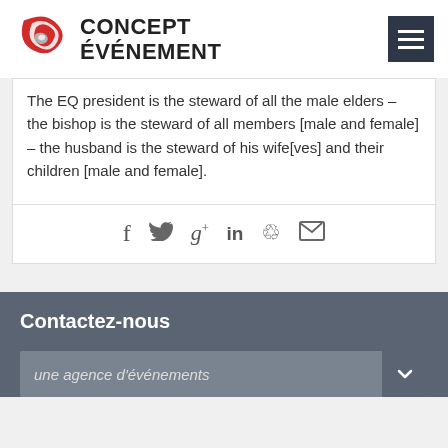CONCEPT ÉVÉNEMENT
The EQ president is the steward of all the male elders – the bishop is the steward of all members [male and female] – the husband is the steward of his wife[ves] and their children [male and female].
[Figure (infographic): Social sharing icons row: Facebook (f), Twitter (bird), Google+ (g+), LinkedIn (in), Pinterest (p), Email (envelope)]
Contactez-nous
[Figure (screenshot): Dropdown input field with placeholder text 'une agence d'événements' and a dark arrow button on the right]